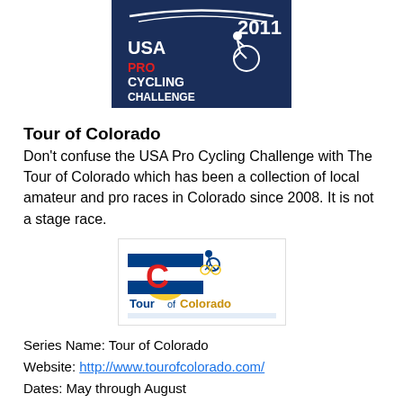[Figure (logo): 2011 USA Pro Cycling Challenge logo — dark blue background with white stylized cyclist and red/white/blue text reading '2011 USA PRO CYCLING CHALLENGE']
Tour of Colorado
Don't confuse the USA Pro Cycling Challenge with The Tour of Colorado which has been a collection of local amateur and pro races in Colorado since 2008. It is not a stage race.
[Figure (logo): Tour of Colorado logo — Colorado flag C symbol in red/blue/yellow with a cyclist silhouette and text 'TourofColorado' in blue and gold]
Series Name: Tour of Colorado
Website: http://www.tourofcolorado.com/
Dates: May through August
Location: various cities in Colorado
Races: The series is comprised of the Rocky Mountain Omnium in Glenwood Springs, North Boulder Park Criterium, Bob Cook Memorial-Mt.Evans Hill Climb, Sand Creek Air Force Academy Road Race (Colorado Spri...